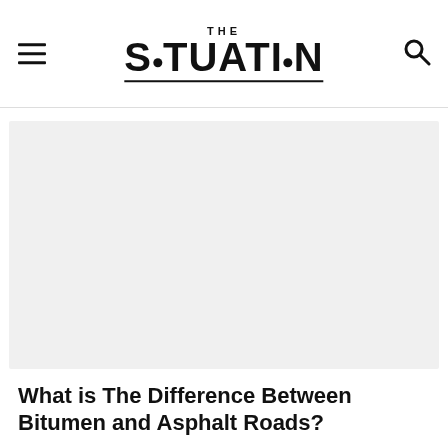THE SITUATION
[Figure (photo): Large hero image placeholder with light gray background]
What is The Difference Between Bitumen and Asphalt Roads?
[Figure (other): Small teaser/preview box at bottom of page]